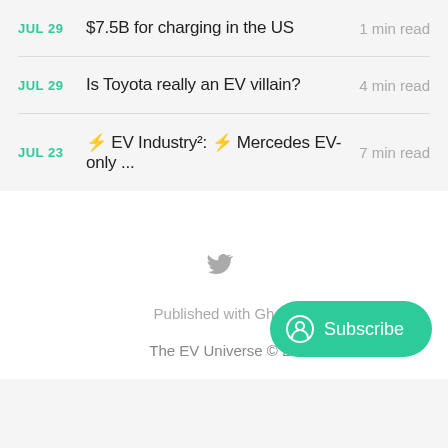JUL 29 — $7.5B for charging in the US — 1 min read
JUL 29 — Is Toyota really an EV villain? — 4 min read
JUL 23 — ⚡ EV Industry²: ⚡ Mercedes EV-only ... — 7 min read
Published with Ghost
The EV Universe © 20